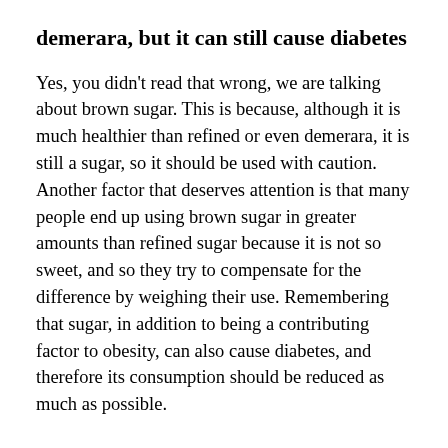demerara, but it can still cause diabetes
Yes, you didn't read that wrong, we are talking about brown sugar. This is because, although it is much healthier than refined or even demerara, it is still a sugar, so it should be used with caution. Another factor that deserves attention is that many people end up using brown sugar in greater amounts than refined sugar because it is not so sweet, and so they try to compensate for the difference by weighing their use. Remembering that sugar, in addition to being a contributing factor to obesity, can also cause diabetes, and therefore its consumption should be reduced as much as possible.